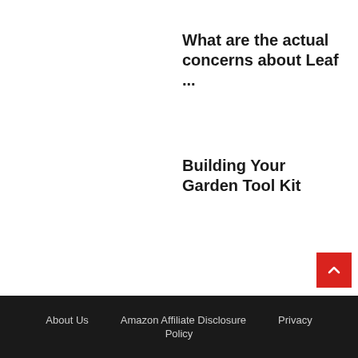What are the actual concerns about Leaf ...
Building Your Garden Tool Kit
About Us   Amazon Affiliate Disclosure Policy   Privacy